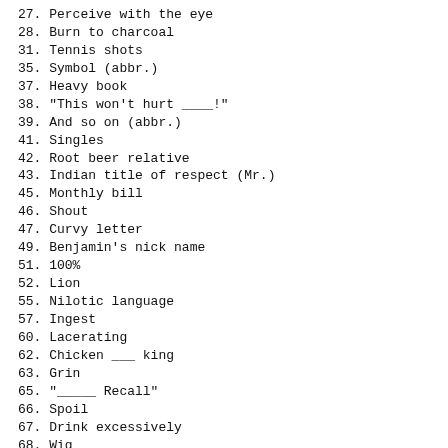27. Perceive with the eye
28. Burn to charcoal
31. Tennis shots
35. Symbol (abbr.)
37. Heavy book
38. "This won't hurt ____!"
39. And so on (abbr.)
41. Singles
42. Root beer relative
43. Indian title of respect (Mr.)
45. Monthly bill
46. Shout
47. Curvy letter
49. Benjamin's nick name
51. 100%
52. Lion
55. Nilotic language
57. Ingest
60. Lacerating
62. Chicken ___ king
63. Grin
65. "_____ Recall"
66. Spoil
67. Drink excessively
68. Wig
69. Conclude
70. One more than two
71. Ancient Greek god of war
DOWN